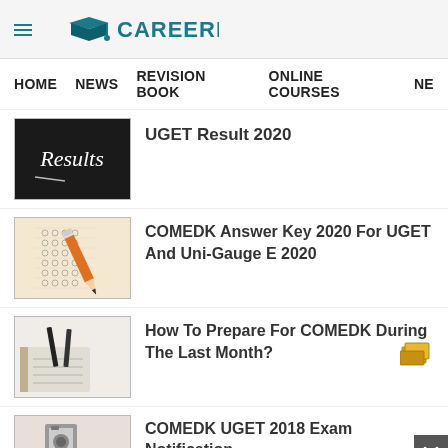CareerIndia
HOME   NEWS   REVISION BOOK   ONLINE COURSES   NE
UGET Result 2020
COMEDK Answer Key 2020 For UGET And Uni-Gauge E 2020
How To Prepare For COMEDK During The Last Month?
COMEDK UGET 2018 Exam Notification Released: Know Everything!